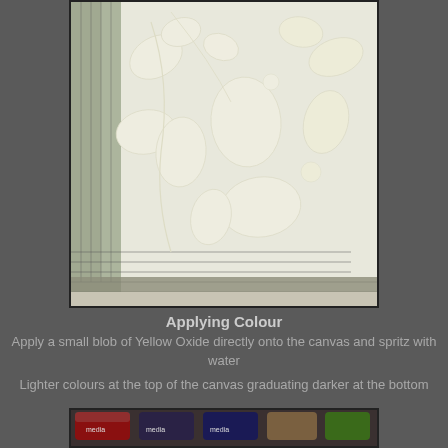[Figure (photo): A white canvas with raised leaf/floral shapes formed from modeling paste or gesso, placed on a green cutting mat grid. The leaf shapes appear embossed creating a textured dimensional surface.]
Applying Colour
Apply a small blob of Yellow Oxide directly onto the canvas and spritz with water
Lighter colours at the top of the canvas graduating darker at the bottom
[Figure (photo): Several tubes of paint/media products lined up, including what appear to be DecoArt Media products in red, dark blue/purple, and green/brown colours.]